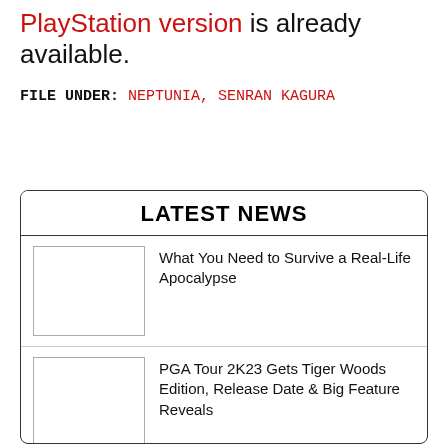PlayStation version is already available.
FILE UNDER: NEPTUNIA, SENRAN KAGURA
LATEST NEWS
What You Need to Survive a Real-Life Apocalypse
PGA Tour 2K23 Gets Tiger Woods Edition, Release Date & Big Feature Reveals